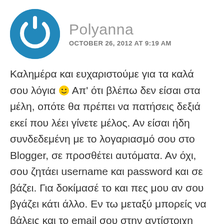[Figure (logo): Blue circular power button icon with white power symbol]
Polyanna
OCTOBER 26, 2012 AT 9:19 AM
Καλημέρα και ευχαριστούμε για τα καλά σου λόγια 🙂 Απ' ότι βλέπω δεν είσαι στα μέλη, οπότε θα πρέπει να πατήσεις δεξιά εκεί που λέει γίνετε μέλος. Αν είσαι ήδη συνδεδεμένη με το λογαριασμό σου στο Blogger, σε προσθέτει αυτόματα. Αν όχι, σου ζητάει username και password και σε βάζει. Για δοκίμασέ το και πες μου αν σου βγάζει κάτι άλλο. Εν τω μεταξύ μπορείς να βάλεις και το email σου στην αντίστοιχη φόρμα, ώστε να λαμβάνεις τα νέα ποστ με email. Στη